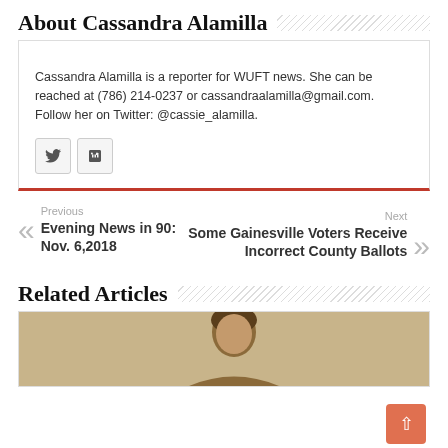About Cassandra Alamilla
Cassandra Alamilla is a reporter for WUFT news. She can be reached at (786) 214-0237 or cassandraalamilla@gmail.com. Follow her on Twitter: @cassie_alamilla.
Previous
Evening News in 90: Nov. 6, 2018
Next
Some Gainesville Voters Receive Incorrect County Ballots
Related Articles
[Figure (photo): Photo of a person, partially visible at bottom of page]